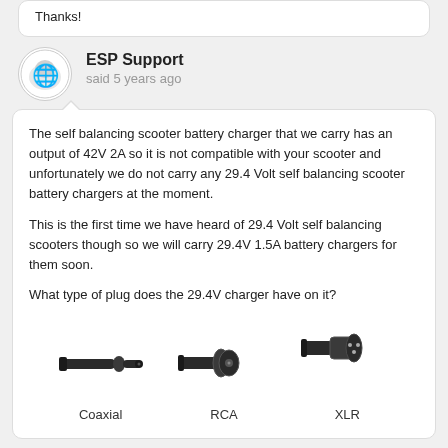Thanks!
ESP Support said 5 years ago
The self balancing scooter battery charger that we carry has an output of 42V 2A so it is not compatible with your scooter and unfortunately we do not carry any 29.4 Volt self balancing scooter battery chargers at the moment.

This is the first time we have heard of 29.4 Volt self balancing scooters though so we will carry 29.4V 1.5A battery chargers for them soon.

What type of plug does the 29.4V charger have on it?
[Figure (photo): Three connector types shown: Coaxial plug (left), RCA connector (middle), XLR connector (right), each with label below]